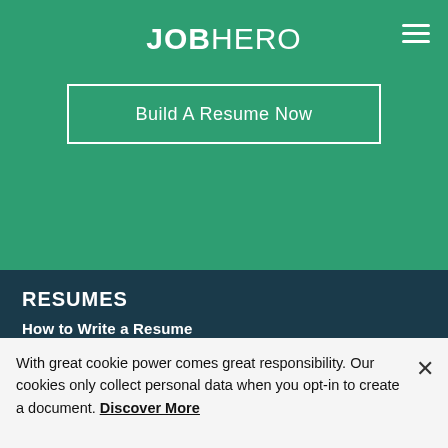JOBHERO
Build A Resume Now
RESUMES
How to Write a Resume
Resume Formats
Resume Objectives
Resume Examples
Resume Builder
Resume Templates
COVER LETTERS
With great cookie power comes great responsibility. Our cookies only collect personal data when you opt-in to create a document. Discover More